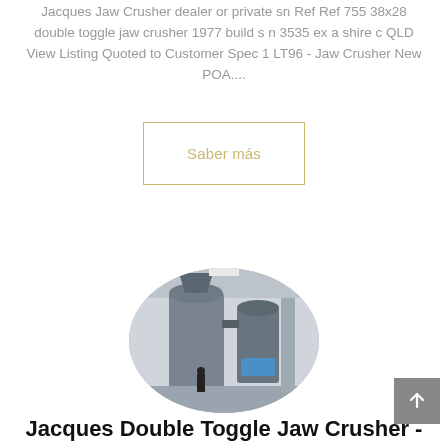Jacques Jaw Crusher dealer or private sn Ref Ref 755 38x28 double toggle jaw crusher 1977 build s n 3535 ex a shire c QLD View Listing Quoted to Customer Spec 1 LT96 - Jaw Crusher New POA....
[Figure (other): Button with gold/yellow border and text 'Saber más' (Know more)]
[Figure (photo): Oval-cropped photo of industrial jaw crusher equipment inside a factory/warehouse building, showing large grey industrial machinery]
Jacques Double Toggle Jaw Crusher -